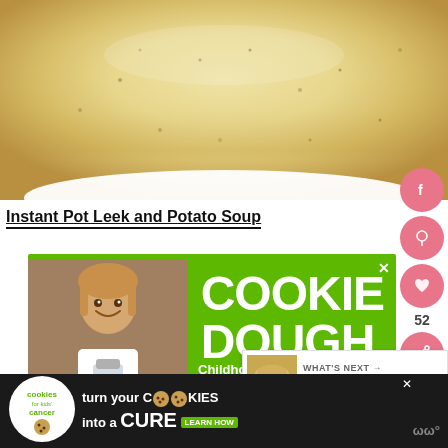[Figure (photo): Close-up photo of creamy leek and potato soup in a white bowl, viewed from above. The soup is a pale yellow/cream color with visible herb specks.]
Instant Pot Leek and Potato Soup
[Figure (infographic): Green advertisement banner for 'Cookie Dough' charity - Cookies for Kids' Cancer. Shows a smiling child holding a jar, with text 'COOKIE DOUGH' in large white letters and 'Childhood cancer didn't stop for' in smaller text. Has a close button X in the corner.]
[Figure (infographic): "WHAT'S NEXT" panel showing Instant Pot Turkey Pot Pie with a thumbnail image of pot pie.]
[Figure (infographic): Bottom advertisement banner: 'cookies for kids cancer' logo on dark background with text 'turn your COOKIES into a CURE LEARN HOW'. Has close button.]